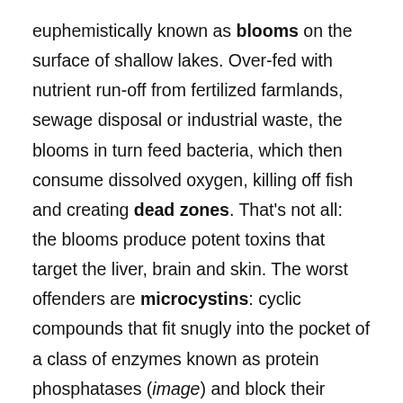euphemistically known as blooms on the surface of shallow lakes. Over-fed with nutrient run-off from fertilized farmlands, sewage disposal or industrial waste, the blooms in turn feed bacteria, which then consume dissolved oxygen, killing off fish and creating dead zones. That's not all: the blooms produce potent toxins that target the liver, brain and skin. The worst offenders are microcystins: cyclic compounds that fit snugly into the pocket of a class of enzymes known as protein phosphatases (image) and block their tumor-suppressing activity. In 1996, 76 dialysis patients at a clinic in Caruaru, Brazil, died from acute liver failure after water contaminated with microcystins was used in renal dialysis treatment. Their cyclic structure makes microcystins resistant to most water treatment processes, and boiling only concentrates the toxin. The building blocks that make